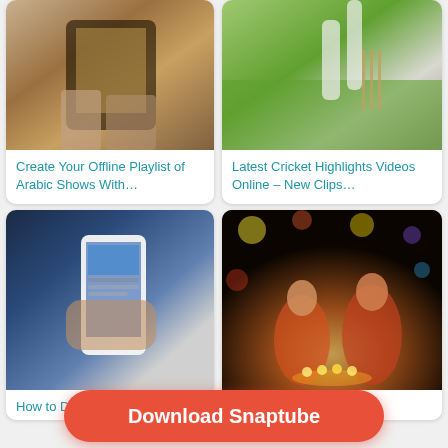[Figure (photo): Hand holding a tablet/phone showing food or media content - Arabic shows playlist]
Create Your Offline Playlist of Arabic Shows With…
[Figure (photo): Cricket players on a field, green grass, wickets visible]
Latest Cricket Highlights Videos Online – New Clips…
[Figure (photo): Person holding a white smartphone showing sports content, TV screen in background]
How to Download TV Shows
[Figure (photo): Two women in traditional Indian attire celebrating Diwali with lit diyas, colorful bokeh lights in background]
Diwali 2020: Date,
Download Snaptube